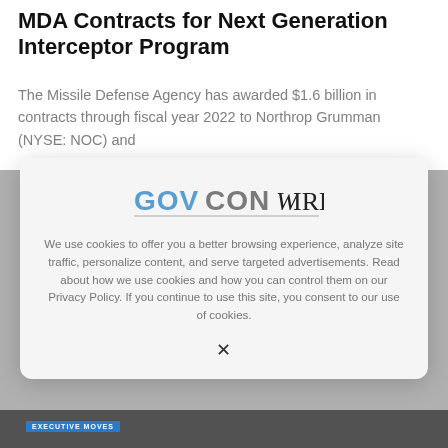MDA Contracts for Next Generation Interceptor Program
The Missile Defense Agency has awarded $1.6 billion in contracts through fiscal year 2022 to Northrop Grumman (NYSE: NOC) and
[Figure (screenshot): GovConWire cookie consent modal overlay with logo, cookie policy text, and close button (X)]